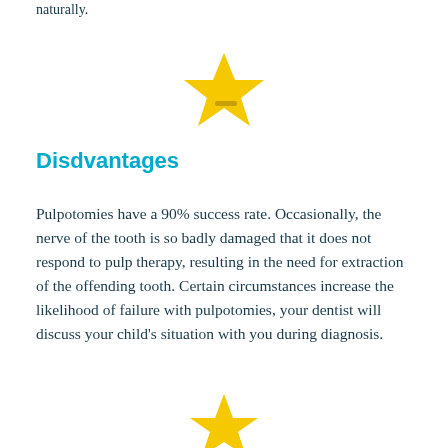naturally.
[Figure (illustration): A yellow star with a small minus/dash symbol inside, centered on the page]
Disdvantages
Pulpotomies have a 90% success rate. Occasionally, the nerve of the tooth is so badly damaged that it does not respond to pulp therapy, resulting in the need for extraction of the offending tooth. Certain circumstances increase the likelihood of failure with pulpotomies, your dentist will discuss your child’s situation with you during diagnosis.
[Figure (illustration): A yellow star partially visible at the bottom of the page, centered]